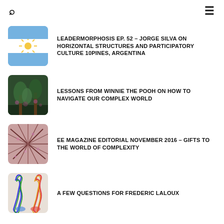🔍  ☰
LEADERMORPHOSIS EP. 52 – JORGE SILVA ON HORIZONTAL STRUCTURES AND PARTICIPATORY CULTURE 10PINES, ARGENTINA
LESSONS FROM WINNIE THE POOH ON HOW TO NAVIGATE OUR COMPLEX WORLD
EE MAGAZINE EDITORIAL NOVEMBER 2016 – GIFTS TO THE WORLD OF COMPLEXITY
A FEW QUESTIONS FOR FREDERIC LALOUX